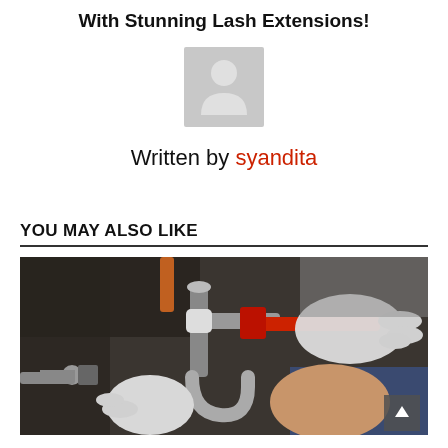With Stunning Lash Extensions!
[Figure (illustration): Gray placeholder avatar icon — silhouette of a person on a gray background]
Written by syandita
YOU MAY ALSO LIKE
[Figure (photo): A plumber in white gloves using a red pipe wrench to work on pipes beneath a sink. A P-trap and various plumbing connections are visible. The plumber's arm and blue sleeve are partially visible.]